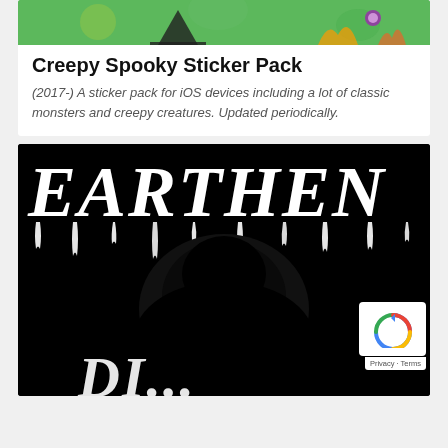[Figure (illustration): Partial view of a colorful sticker pack image with cartoon monsters on green background, cropped at top]
Creepy Spooky Sticker Pack
(2017-) A sticker pack for iOS devices including a lot of classic monsters and creepy creatures. Updated periodically.
[Figure (illustration): Black background with large white horror-style text reading EARTHEN at top, and partial text visible at bottom. A large black silhouette figure in the center.]